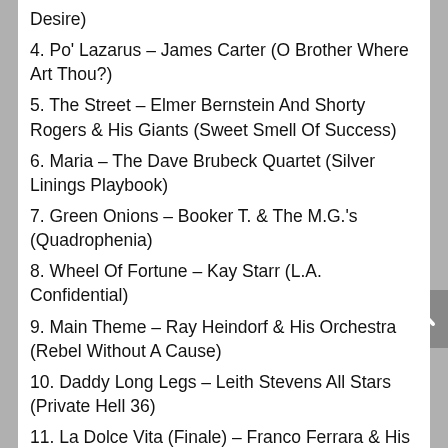Desire)
4. Po' Lazarus – James Carter (O Brother Where Art Thou?)
5. The Street – Elmer Bernstein And Shorty Rogers & His Giants (Sweet Smell Of Success)
6. Maria – The Dave Brubeck Quartet (Silver Linings Playbook)
7. Green Onions – Booker T. & The M.G.'s (Quadrophenia)
8. Wheel Of Fortune – Kay Starr (L.A. Confidential)
9. Main Theme – Ray Heindorf & His Orchestra (Rebel Without A Cause)
10. Daddy Long Legs – Leith Stevens All Stars (Private Hell 36)
11. La Dolce Vita (Finale) – Franco Ferrara & His Orchestra (La Dolce Vita)
12. Never On Sunday (Main Title) – Manos Hadjidakis (Never On Sunday)
13. Please Love Me Forever – Tommy Edwards